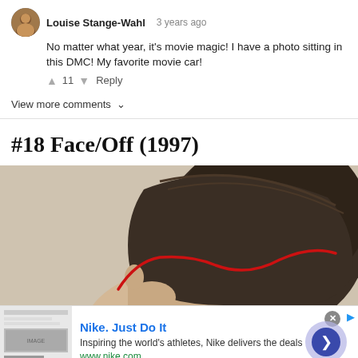Louise Stange-Wahl  3 years ago
No matter what year, it's movie magic! I have a photo sitting in this DMC! My favorite movie car!
↑ 11 ↓  Reply
View more comments ∨
#18 Face/Off (1997)
[Figure (photo): Back of a person's head showing a curved red surgical line drawn along the hairline, suggesting face transplant surgery as in the movie Face/Off]
[Figure (screenshot): Nike advertisement banner: 'Nike. Just Do It' with text 'Inspiring the world's athletes, Nike delivers the deals' and url www.nike.com, with a thumbnail image and a play button circle on the right]